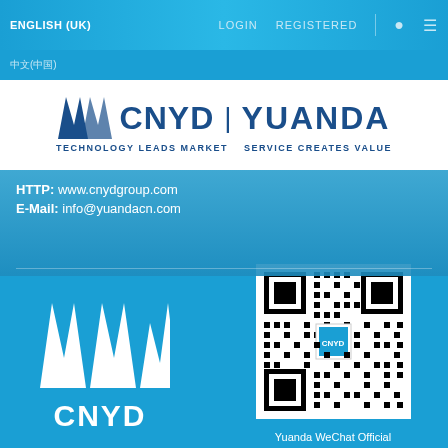ENGLISH (UK)   LOGIN   REGISTERED
中文(中国)
[Figure (logo): CNYD | YUANDA logo with tagline: TECHNOLOGY LEADS MARKET   SERVICE CREATES VALUE]
HTTP: www.cnydgroup.com
E-Mail: info@yuandacn.com
[Figure (logo): CNYD white logo on blue background with geometric W-stripe mark]
[Figure (other): QR code for Yuanda WeChat Official Account Platform]
Yuanda WeChat Official Account Platform